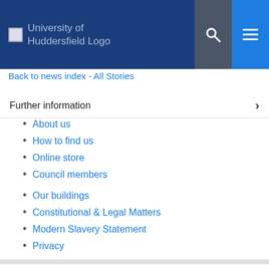University of Huddersfield Logo
Back to news index - All Stories
Further information
About us
How to find us
Online store
Council members
Our buildings
Constitutional & Legal Matters
Modern Slavery Statement
Privacy
Popular
Contact us
Jobs
Services to business
University news